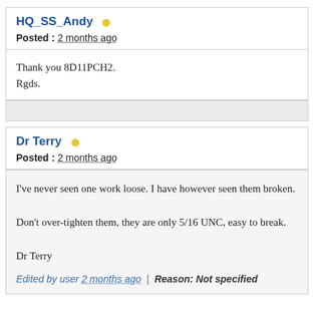HQ_SS_Andy
Posted : 2 months ago
Thank you 8D11PCH2.
Rgds.
Dr Terry
Posted : 2 months ago
I've never seen one work loose. I have however seen them broken.

Don't over-tighten them, they are only 5/16 UNC, easy to break.

Dr Terry
Edited by user 2 months ago  |  Reason: Not specified